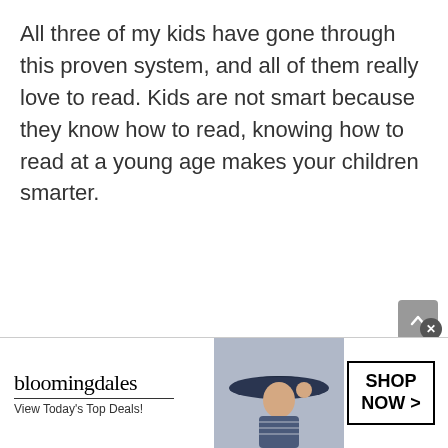All three of my kids have gone through this proven system, and all of them really love to read. Kids are not smart because they know how to read, knowing how to read at a young age makes your children smarter.
There are plenty of products on the market that
[Figure (screenshot): Bloomingdale's advertisement banner with logo, 'View Today's Top Deals!' tagline, image of woman in hat, and 'SHOP NOW >' button]